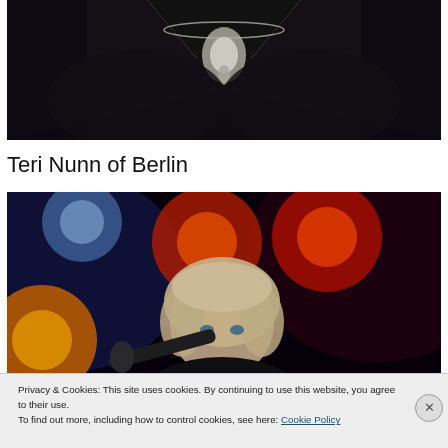[Figure (photo): Partial photo showing a person in a black low-cut dress or top with a decorative silver necklace, cropped at the chest/torso area]
Teri Nunn of Berlin
[Figure (photo): Concert photo of a blonde female singer holding a microphone on stage with colorful red, orange, and blue stage lights in the background]
Privacy & Cookies: This site uses cookies. By continuing to use this website, you agree to their use.
To find out more, including how to control cookies, see here: Cookie Policy
Close and accept